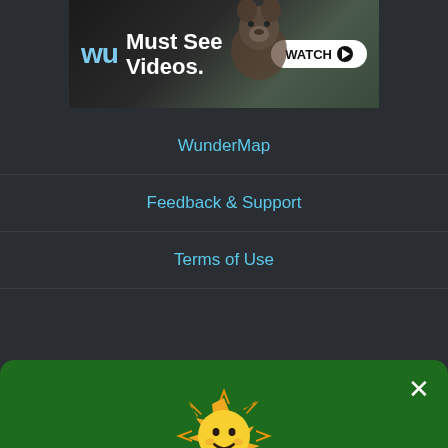[Figure (screenshot): Weather Underground advertisement banner showing WU logo, 'Must See Videos.' text, bear image, and WATCH button]
WunderMap
Feedback & Support
Terms of Use
[Figure (illustration): Smiling cartoon sun icon in orange and yellow colors]
Your Privacy
See our Privacy Policy to learn about the types of data we collect and how we use and share it. We collect data from your browser to personalize your weather and the ads you see.
Review Privacy and Advertising Settings